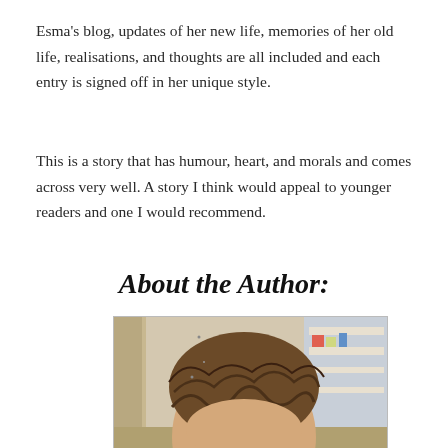Esma's blog, updates of her new life, memories of her old life, realisations, and thoughts are all included and each entry is signed off in her unique style.
This is a story that has humour, heart, and morals and comes across very well. A story I think would appeal to younger readers and one I would recommend.
About the Author:
[Figure (photo): A photo of the author, showing a person with curly/wavy brown hair, forehead visible, taken in what appears to be an indoor setting with shelving in the background.]